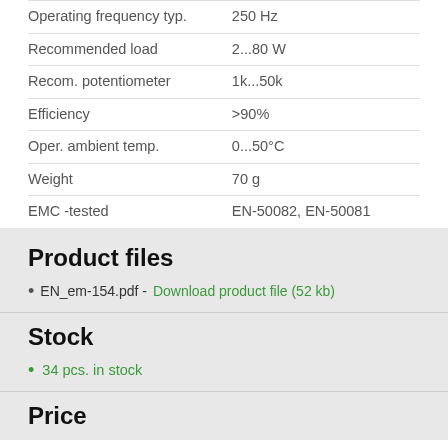| Property | Value |
| --- | --- |
| Operating frequency typ. | 250 Hz |
| Recommended load | 2...80 W |
| Recom. potentiometer | 1k...50k |
| Efficiency | >90% |
| Oper. ambient temp. | 0...50°C |
| Weight | 70 g |
| EMC -tested | EN-50082, EN-50081 |
Product files
EN_em-154.pdf - Download product file (52 kb)
Stock
34 pcs. in stock
Price